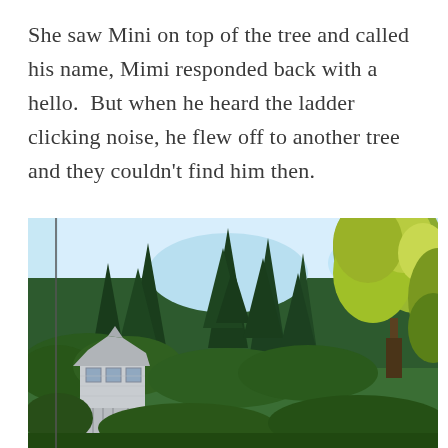She saw Mini on top of the tree and called his name, Mimi responded back with a hello.  But when he heard the ladder clicking noise, he flew off to another tree and they couldn't find him then.
[Figure (photo): Outdoor photograph showing a cluster of tall green trees including conifers and a deciduous tree with yellow-green leaves on the right side. A two-story light grey house with a porch is visible in the lower left background. Clear light blue sky is visible above the treeline.]